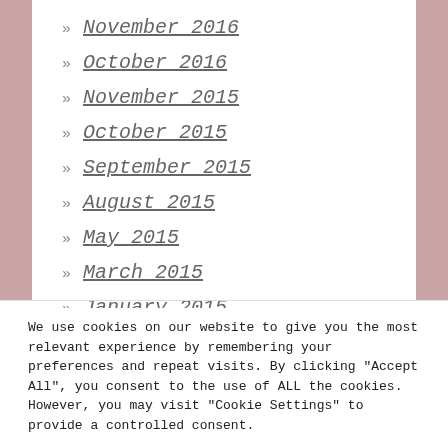» November 2016
» October 2016
» November 2015
» October 2015
» September 2015
» August 2015
» May 2015
» March 2015
» January 2015
We use cookies on our website to give you the most relevant experience by remembering your preferences and repeat visits. By clicking "Accept All", you consent to the use of ALL the cookies. However, you may visit "Cookie Settings" to provide a controlled consent.
Cookie Settings | Accept All